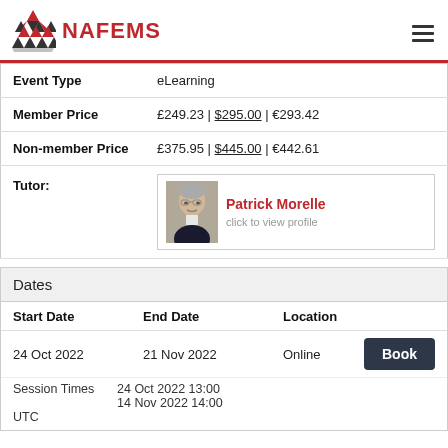NAFEMS
| Field | Value |
| --- | --- |
| Event Type | eLearning |
| Member Price | £249.23 | $295.00 | €293.42 |
| Non-member Price | £375.95 | $445.00 | €442.61 |
| Tutor: | Patrick Morelle — click to view profile |
Dates
| Start Date | End Date | Location |  |
| --- | --- | --- | --- |
| 24 Oct 2022 | 21 Nov 2022 | Online | Book |
Session Times  24 Oct 2022 13:00
UTC            14 Nov 2022 14:00